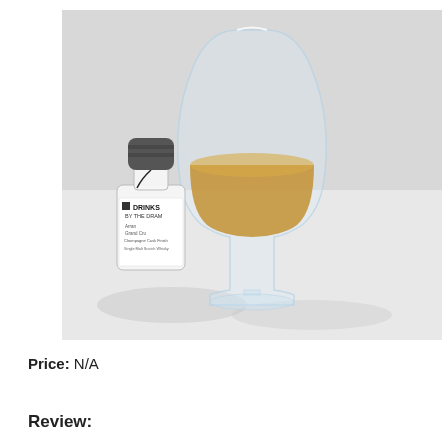[Figure (photo): A small sample bottle with a dark gray cap labeled 'DRINKS BY THE DRAM – Arran Grand Cru Champagne Cask Finish, Single Malt Scotch Whisky' placed next to a Glencairn whisky glass containing amber-colored whisky, both on a white surface.]
Price: N/A
Review: